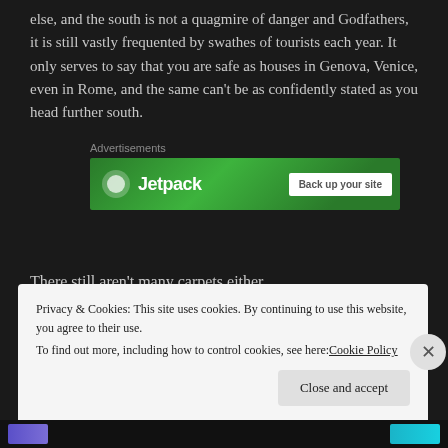else, and the south is not a quagmire of danger and Godfathers, it is still vastly frequented by swathes of tourists each year. It only serves to say that you are safe as houses in Genova, Venice, even in Rome, and the same can't be as confidently stated as you head further south.
[Figure (other): Jetpack advertisement banner with green background showing Jetpack logo and 'Back up your site' button]
There still aren't many carpets either.
Privacy & Cookies: This site uses cookies. By continuing to use this website, you agree to their use.
To find out more, including how to control cookies, see here: Cookie Policy